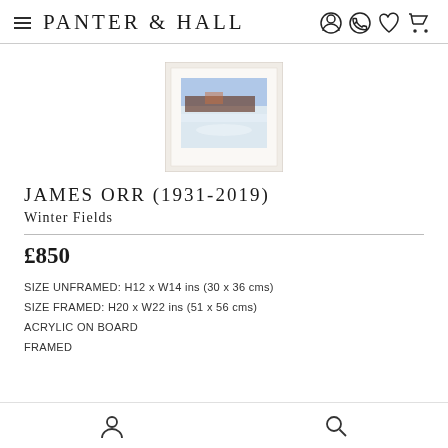PANTER & HALL
[Figure (photo): Small framed painting showing a winter landscape with snow-covered fields and trees in the background, in a white/cream frame.]
JAMES ORR (1931-2019)
Winter Fields
£850
SIZE UNFRAMED: H12 x W14 ins (30 x 36 cms)
SIZE FRAMED: H20 x W22 ins (51 x 56 cms)
ACRYLIC ON BOARD
FRAMED